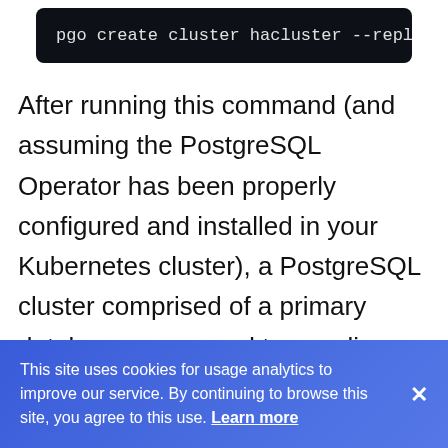[Figure (screenshot): Dark terminal/code block showing command: pgo create cluster hacluster --replica-]
After running this command (and assuming the PostgreSQL Operator has been properly configured and installed in your Kubernetes cluster), a PostgreSQL cluster comprised of a primary database server and two replica servers will be created, with one of those replicas automatically selected as the current synchronous replica for the
This site uses cookies for usage analytics to improve our service. By continuing to browse this site, you agree to this use. Learn more